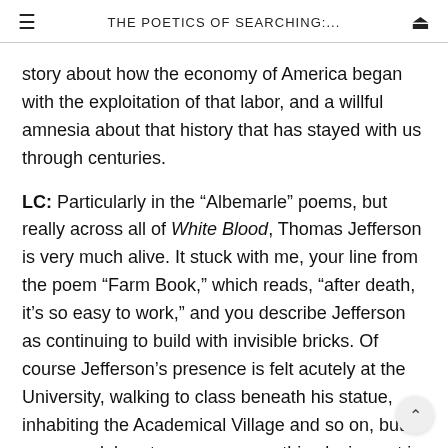THE POETICS OF SEARCHING:....
story about how the economy of America began with the exploitation of that labor, and a willful amnesia about that history that has stayed with us through centuries.
LC: Particularly in the “Albemarle” poems, but really across all of White Blood, Thomas Jefferson is very much alive. It stuck with me, your line from the poem “Farm Book,” which reads, “after death, it’s so easy to work,” and you describe Jefferson as continuing to build with invisible bricks. Of course Jefferson’s presence is felt acutely at the University, walking to class beneath his statue, inhabiting the Academical Village and so on, but can you elaborate on how you see this playing out in America more broadly?